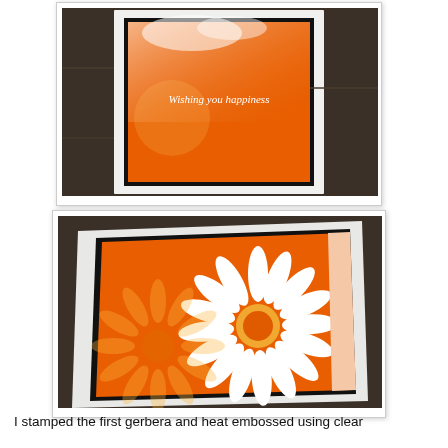[Figure (photo): Close-up photograph of a handmade greeting card standing upright on a dark wooden surface. The card has a white mat frame with a black inner border. Inside is an orange background with a pink-to-orange gradient panel and white text reading 'Wishing you happiness'. A gerbera daisy flower impression is visible.]
[Figure (photo): Close-up photograph of a handmade greeting card lying flat on a dark wooden surface. The card shows a large white heat-embossed gerbera daisy on an orange background. A lighter orange gerbera is also visible. On the right side is a pale pink panel with white script text reading 'Wishing you happiness'. The card has a white mat frame with a black inner border.]
I stamped the first gerbera and heat embossed using clear